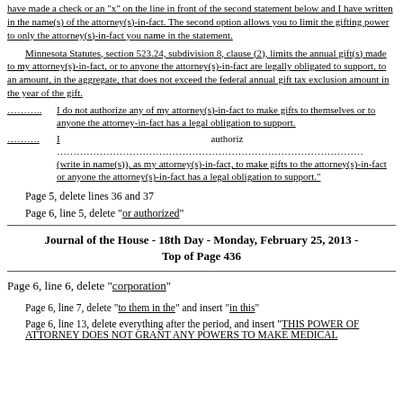have made a check or an "x" on the line in front of the second statement below and I have written in the name(s) of the attorney(s)-in-fact. The second option allows you to limit the gifting power to only the attorney(s)-in-fact you name in the statement.
Minnesota Statutes, section 523.24, subdivision 8, clause (2), limits the annual gift(s) made to my attorney(s)-in-fact, or to anyone the attorney(s)-in-fact are legally obligated to support, to an amount, in the aggregate, that does not exceed the federal annual gift tax exclusion amount in the year of the gift.
……... I do not authorize any of my attorney(s)-in-fact to make gifts to themselves or to anyone the attorney-in-fact has a legal obligation to support.
……... I authorize (write in name(s)), as my attorney(s)-in-fact, to make gifts to the attorney(s)-in-fact or anyone the attorney(s)-in-fact has a legal obligation to support.
Page 5, delete lines 36 and 37
Page 6, line 5, delete "or authorized"
Journal of the House - 18th Day - Monday, February 25, 2013 - Top of Page 436
Page 6, line 6, delete "corporation"
Page 6, line 7, delete "to them in the" and insert "in this"
Page 6, line 13, delete everything after the period, and insert "THIS POWER OF ATTORNEY DOES NOT GRANT ANY POWERS TO MAKE MEDICAL